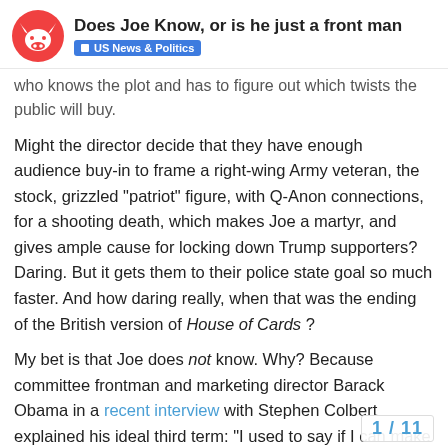Does Joe Know, or is he just a front man | US News & Politics
who knows the plot and has to figure out which twists the public will buy.
Might the director decide that they have enough audience buy-in to frame a right-wing Army veteran, the stock, grizzled “patriot” figure, with Q-Anon connections, for a shooting death, which makes Joe a martyr, and gives ample cause for locking down Trump supporters? Daring. But it gets them to their police state goal so much faster. And how daring really, when that was the ending of the British version of House of Cards ?
My bet is that Joe does not know. Why? Because committee frontman and marketing director Barack Obama in a recent interview with Stephen Colbert explained his ideal third term: “I used to say if I can make an arrangement where I had a stand-in or frontman or frontwoman and they had an earpiece in and I was just in my basement in my sweats looking through the stuff and I could sort of deliver the lines while someone was doing all the talking and ceremony, I’d be fine with that. I still find the work fascinating.”
1 / 11